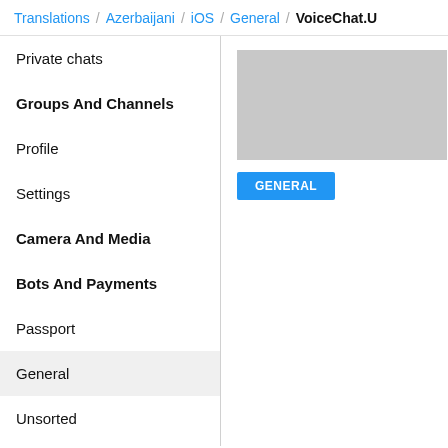Translations / Azerbaijani / iOS / General / VoiceChat.U
Private chats
Groups And Channels
Profile
Settings
Camera And Media
Bots And Payments
Passport
General
Unsorted
[Figure (screenshot): Gray placeholder box representing a UI preview area]
GENERAL